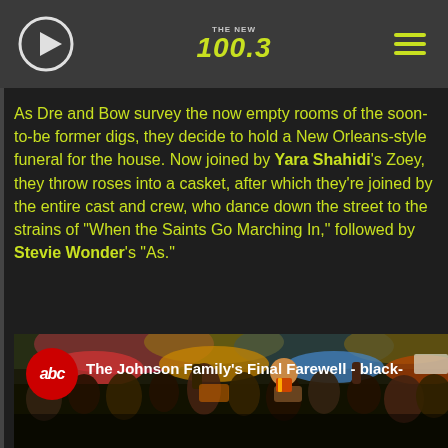THE NEW 100.3
As Dre and Bow survey the now empty rooms of the soon-to-be former digs, they decide to hold a New Orleans-style funeral for the house. Now joined by Yara Shahidi's Zoey, they throw roses into a casket, after which they're joined by the entire cast and crew, who dance down the street to the strains of "When the Saints Go Marching In," followed by Stevie Wonder's "As."
[Figure (screenshot): ABC video thumbnail showing a crowd celebrating at a New Orleans-style funeral parade with the title 'The Johnson Family's Final Farewell - black-']